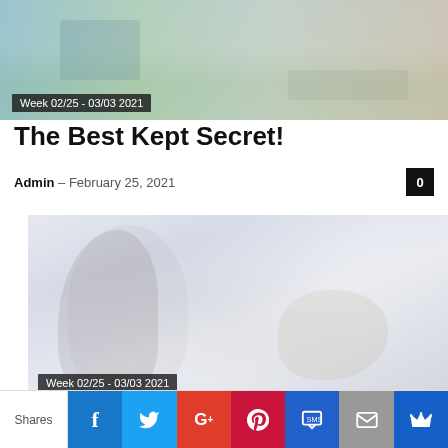[Figure (photo): Top banner photo showing outdoor area with pool/water feature, green lawn, and pathway]
Week 02/25 - 03/03 2021
The Best Kept Secret!
Admin – February 25, 2021
[Figure (photo): Faded/light image of a person hiking with a dog outdoors]
Week 02/25 - 03/03 2021
Tail-Friendly Trails, Hiking With Benji!
Shares | Facebook | Twitter | G+ | Pinterest | SMS | Email | Crown